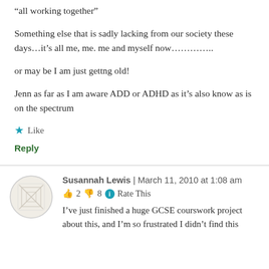“all working together”
Something else that is sadly lacking from our society these days…it’s all me, me. me and myself now………….
or may be I am just gettng old!
Jenn as far as I am aware ADD or ADHD as it’s also know as is on the spectrum
★ Like
Reply
Susannah Lewis | March 11, 2010 at 1:08 am
👍 2 👎 8 ⓘ Rate This
I’ve just finished a huge GCSE courswork project about this, and I’m so frustrated I didn’t find this